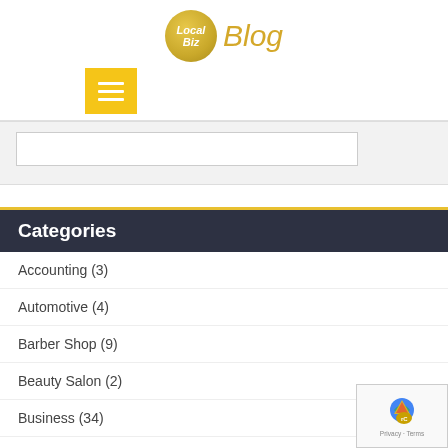[Figure (logo): LocalBiz Blog logo with golden circle containing 'Local Biz' text in italic and 'Blog' text in gold italic beside it]
[Figure (screenshot): Yellow/gold hamburger menu button with three white horizontal lines]
[Figure (screenshot): White search input box area]
Categories
Accounting (3)
Automotive (4)
Barber Shop (9)
Beauty Salon (2)
Business (34)
Career Guidance (6)
Catering (4)
[Figure (logo): Google reCAPTCHA badge with privacy and terms text]